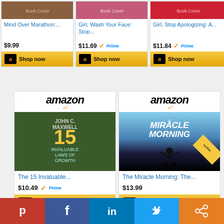[Figure (screenshot): Amazon product card: Mind Over Marathon book, $9.99, Shop now button]
[Figure (screenshot): Amazon product card: Girl, Wash Your Face book, $11.69, Prime, Shop now button]
[Figure (screenshot): Amazon product card: Girl, Stop Apologizing book, $11.84, Prime, Shop now button]
[Figure (screenshot): Amazon product card: The 15 Invaluable Laws of Growth by John C. Maxwell, $10.49, Prime, Shop now button]
[Figure (screenshot): Amazon product card: The Miracle Morning by Hal Elrod, $13.99, Shop now button]
[Figure (infographic): Social sharing bar with Pinterest, Facebook, LinkedIn, Twitter, and Share buttons]